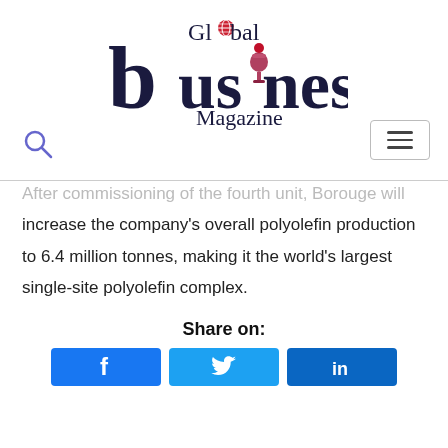[Figure (logo): Global Business Magazine logo with globe icon and award trophy replacing the letter 'i' in 'business']
After commissioning of the fourth unit, Borouge will increase the company's overall polyolefin production to 6.4 million tonnes, making it the world's largest single-site polyolefin complex.
Share on:
[Figure (infographic): Social share buttons: Facebook, Twitter, LinkedIn]